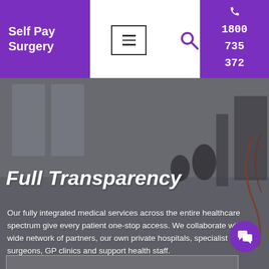Self Pay Surgery
1800 735 372
Full Transparency
Our fully integrated medical services across the entire healthcare spectrum give every patient one-stop access. We collaborate with a wide network of partners, our own private hospitals, specialist surgeons, GP clinics and support health staff.
[Figure (screenshot): Hospital corridor background with medical equipment, overlaid with hero text and semi-transparent dark gradient]